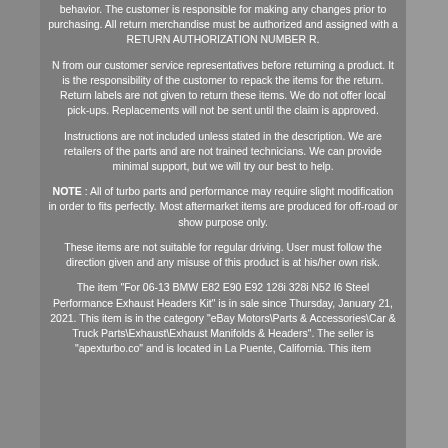behavior. The customer is responsible for making any changes prior to purchasing. All return merchandise must be authorized and assigned with a RETURN AUTHORIZATION NUMBER R.
N from our customer service representatives before returning a product. It is the responsibility of the customer to repack the items for the return. Return labels are not given to return these items. We do not offer local pick-ups. Replacements will not be sent until the claim is approved.
Instructions are not included unless stated in the description. We are retailers of the parts and are not trained technicians. We can provide minimal support, but we will try our best to help.
NOTE : All of turbo parts and performance may require slight modification in order to fits perfectly. Most aftermarket items are produced for off-road or show purpose only.
These items are not suitable for regular driving. User must follow the direction given and any misuse of this product is at his/her own risk.
The item "For 06-13 BMW E82 E90 E92 128i 328i N52 I6 Steel Performance Exhaust Headers Kit" is in sale since Thursday, January 21, 2021. This item is in the category "eBay Motors\Parts & Accessories\Car & Truck Parts\Exhaust\Exhaust Manifolds & Headers". The seller is "apexturbo.co" and is located in La Puente, California. This item